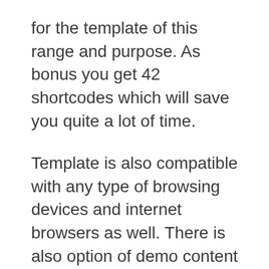for the template of this range and purpose. As bonus you get 42 shortcodes which will save you quite a lot of time.
Template is also compatible with any type of browsing devices and internet browsers as well. There is also option of demo content installation, which might be very useful for you. I hope you find this theme usable for your project and it will help with your project.